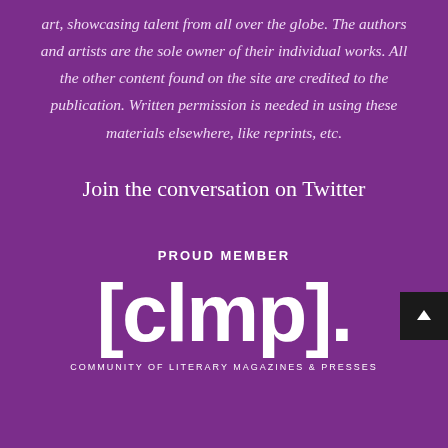art, showcasing talent from all over the globe. The authors and artists are the sole owner of their individual works. All the other content found on the site are credited to the publication. Written permission is needed in using these materials elsewhere, like reprints, etc.
Join the conversation on Twitter
PROUD MEMBER
[Figure (logo): CLMP logo — white text '[clmp].' on purple background, with 'COMMUNITY OF LITERARY MAGAZINES & PRESSES' below]
COMMUNITY OF LITERARY MAGAZINES & PRESSES